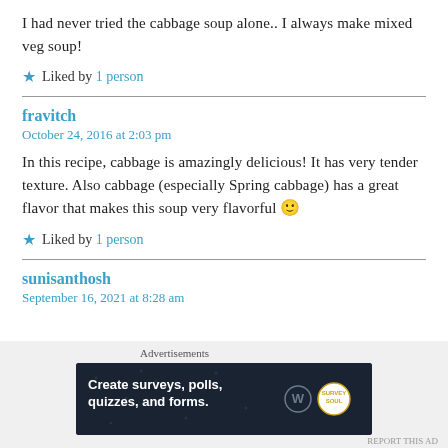I had never tried the cabbage soup alone.. I always make mixed veg soup!
★ Liked by 1 person
fravitch
October 24, 2016 at 2:03 pm
In this recipe, cabbage is amazingly delicious! It has very tender texture. Also cabbage (especially Spring cabbage) has a great flavor that makes this soup very flavorful 🙂
★ Liked by 1 person
sunisanthosh
September 16, 2021 at 8:28 am
[Figure (screenshot): Advertisement banner: Create surveys, polls, quizzes, and forms. Dark navy background with WordPress and Survey Soul logos.]